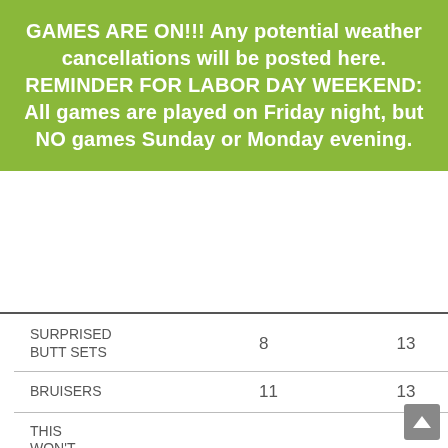GAMES ARE ON!!! Any potential weather cancellations will be posted here. REMINDER FOR LABOR DAY WEEKEND: All games are played on Friday night, but NO games Sunday or Monday evening.
| Team | Score1 | Score2 |
| --- | --- | --- |
| SURPRISED BUTT SETS | 8 | 13 |
| BRUISERS | 11 | 13 |
| THIS WON'T TAKE LONG | 12 | 12 |
| GOLD DIGGERS | 22 | 2 |
| ICY HOT | 1 | 20 |